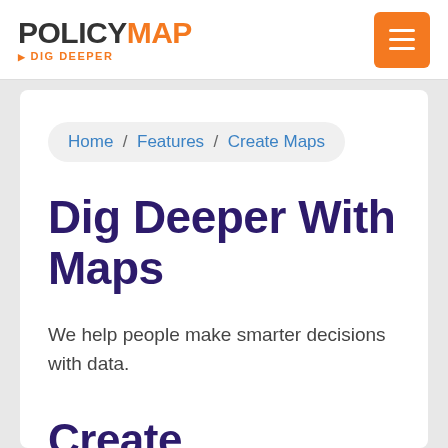POLICYMAP ▶ DIG DEEPER
Home / Features / Create Maps
Dig Deeper With Maps
We help people make smarter decisions with data.
Create compelling,